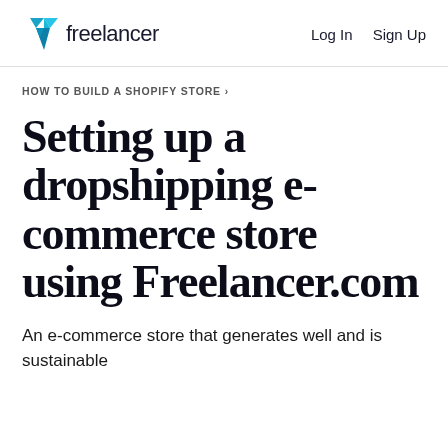freelancer   Log In   Sign Up
HOW TO BUILD A SHOPIFY STORE ›
Setting up a dropshipping e-commerce store using Freelancer.com
An e-commerce store that generates well and is sustainable